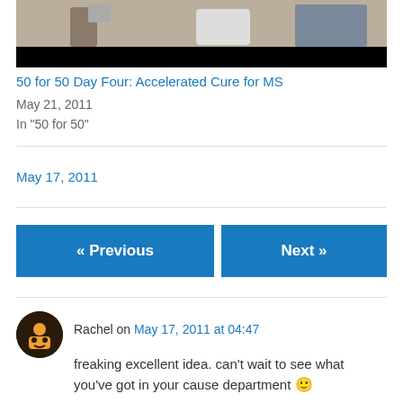[Figure (photo): Cropped photo showing partial view of a person near equipment, with black bar at bottom]
50 for 50 Day Four: Accelerated Cure for MS
May 21, 2011
In "50 for 50"
May 17, 2011
« Previous
Next »
Rachel on May 17, 2011 at 04:47
freaking excellent idea. can't wait to see what you've got in your cause department 🙂